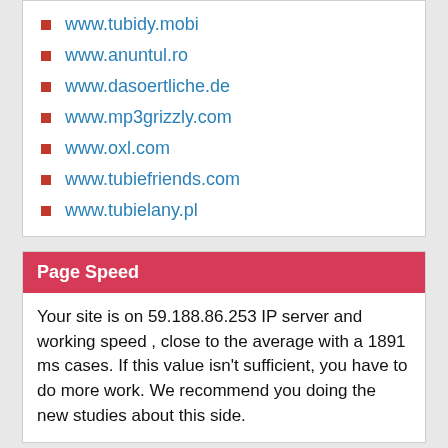www.tubidy.mobi
www.anuntul.ro
www.dasoertliche.de
www.mp3grizzly.com
www.oxl.com
www.tubiefriends.com
www.tubielany.pl
Page Speed
Your site is on 59.188.86.253 IP server and working speed , close to the average with a 1891 ms cases. If this value isn't sufficient, you have to do more work. We recommend you doing the new studies about this side.
Alexa Global Rank Trend
[Figure (other): Small image placeholder icon for Alexa Global Rank Trend chart]